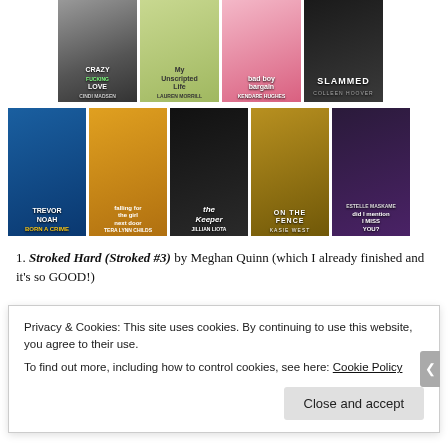[Figure (photo): Row of book covers: Crazy Fucking Love by Cindi Madsen, My Unscripted Life by Lauren Morrill, Bad Boy Bargain by Kendare Hughes, Slammed by Colleen Hoover]
[Figure (photo): Row of book covers: Born a Crime by Trevor Noah, Falling for the Girl Next Door by Tera Lynn Childs, The Keeper by Jillian Liota, On the Fence by Kasie West, Did I Mention I Miss You? by Estelle Maskame]
Stroked Hard (Stroked #3) by Meghan Quinn (which I already finished and it's so GOOD!)
The Homecoming by Stacie Ramey
The R... (partially visible)
Privacy & Cookies: This site uses cookies. By continuing to use this website, you agree to their use.
To find out more, including how to control cookies, see here: Cookie Policy
Close and accept